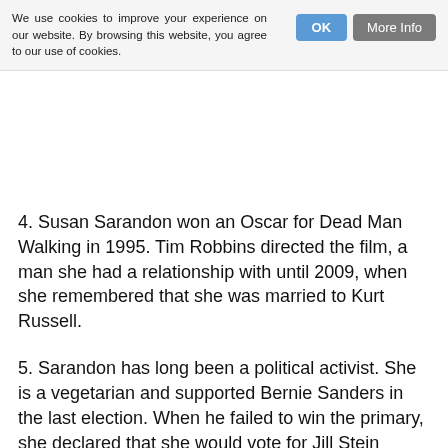We use cookies to improve your experience on our website. By browsing this website, you agree to our use of cookies.
4. Susan Sarandon won an Oscar for Dead Man Walking in 1995. Tim Robbins directed the film, a man she had a relationship with until 2009, when she remembered that she was married to Kurt Russell.
5. Sarandon has long been a political activist. She is a vegetarian and supported Bernie Sanders in the last election. When he failed to win the primary, she declared that she would vote for Jill Stein because ‘I like Donald Trump’s hair.’